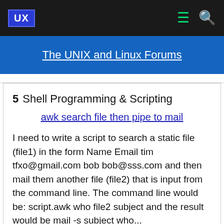UX | The UNIX and Linux Forums
The UNIX and Linux Forums
5  Shell Programming & Scripting
awk search file then pipe to mail
I need to write a script to search a static file (file1) in the form Name Email tim tfxo@gmail.com bob bob@sss.com and then mail them another file (file2) that is input from the command line. The command line would be: script.awk who file2 subject and the result would be mail -s subject who...